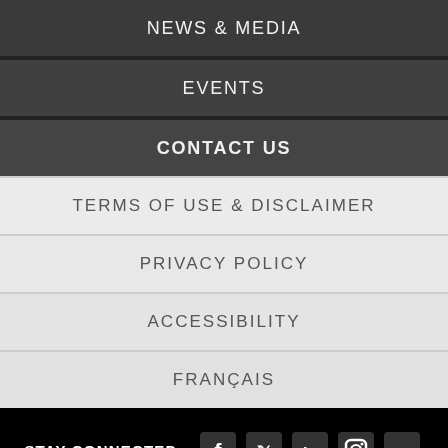NEWS & MEDIA
EVENTS
CONTACT US
TERMS OF USE & DISCLAIMER
PRIVACY POLICY
ACCESSIBILITY
FRANÇAIS
STAY CONNECTED